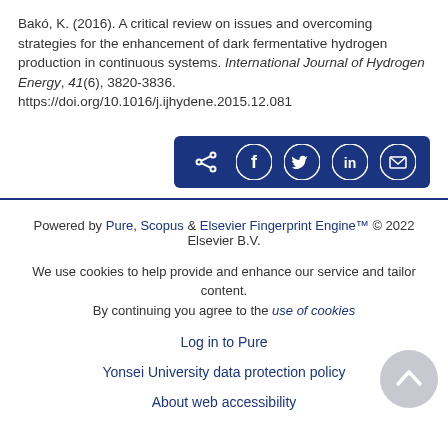Bakó, K. (2016). A critical review on issues and overcoming strategies for the enhancement of dark fermentative hydrogen production in continuous systems. International Journal of Hydrogen Energy, 41(6), 3820-3836. https://doi.org/10.1016/j.ijhydene.2015.12.081
[Figure (other): Share bar with icons for share, Facebook, Twitter, LinkedIn, and email on dark blue background]
Powered by Pure, Scopus & Elsevier Fingerprint Engine™ © 2022 Elsevier B.V.
We use cookies to help provide and enhance our service and tailor content. By continuing you agree to the use of cookies
Log in to Pure
Yonsei University data protection policy
About web accessibility